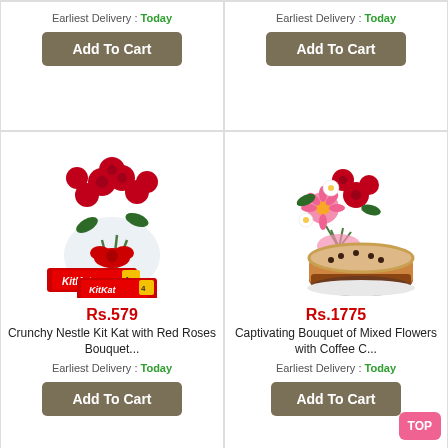Earliest Delivery : Today
Add To Cart
Earliest Delivery : Today
Add To Cart
[Figure (photo): Red roses bouquet with KitKat chocolates]
Rs.579
Crunchy Nestle Kit Kat with Red Roses Bouquet...
Earliest Delivery : Today
Add To Cart
[Figure (photo): Mixed flowers bouquet with a coffee cake]
Rs.1775
Captivating Bouquet of Mixed Flowers with Coffee C...
Earliest Delivery : Today
Add To Cart